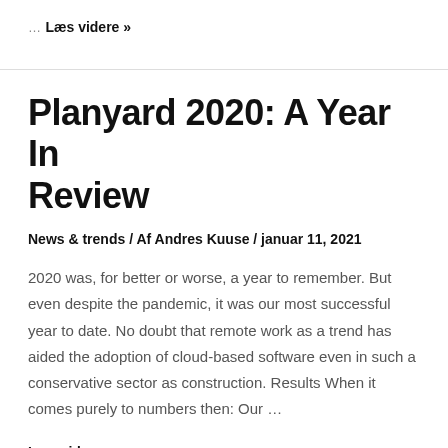…
Læs videre »
Planyard 2020: A Year In Review
News & trends / Af Andres Kuuse / januar 11, 2021
2020 was, for better or worse, a year to remember. But even despite the pandemic, it was our most successful year to date. No doubt that remote work as a trend has aided the adoption of cloud-based software even in such a conservative sector as construction. Results When it comes purely to numbers then: Our …
Læs videre »